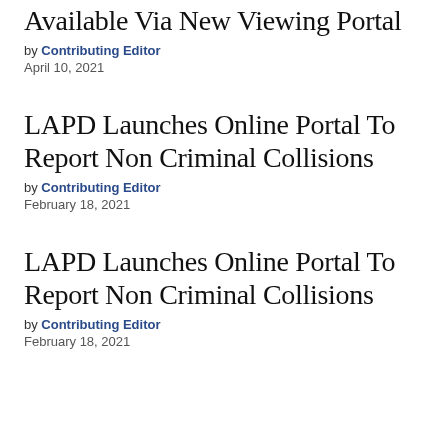Available Via New Viewing Portal
by Contributing Editor
April 10, 2021
LAPD Launches Online Portal To Report Non Criminal Collisions
by Contributing Editor
February 18, 2021
LAPD Launches Online Portal To Report Non Criminal Collisions
by Contributing Editor
February 18, 2021